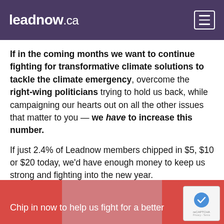leadnow.ca
If in the coming months we want to continue fighting for transformative climate solutions to tackle the climate emergency, overcome the right-wing politicians trying to hold us back, while campaigning our hearts out on all the other issues that matter to you — we have to increase this number.
If just 2.4% of Leadnow members chipped in $5, $10 or $20 today, we'd have enough money to keep us strong and fighting into the new year.
Chip in now to help us fight for a better